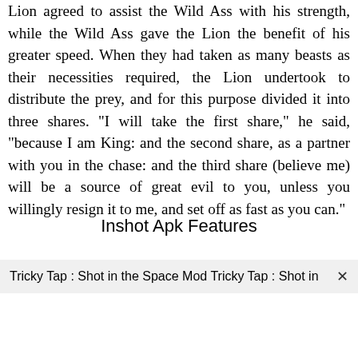Lion agreed to assist the Wild Ass with his strength, while the Wild Ass gave the Lion the benefit of his greater speed. When they had taken as many beasts as their necessities required, the Lion undertook to distribute the prey, and for this purpose divided it into three shares. "I will take the first share," he said, "because I am King: and the second share, as a partner with you in the chase: and the third share (believe me) will be a source of great evil to you, unless you willingly resign it to me, and set off as fast as you can."
Inshot Apk Features
Tricky Tap : Shot in the Space Mod Tricky Tap : Shot in ×